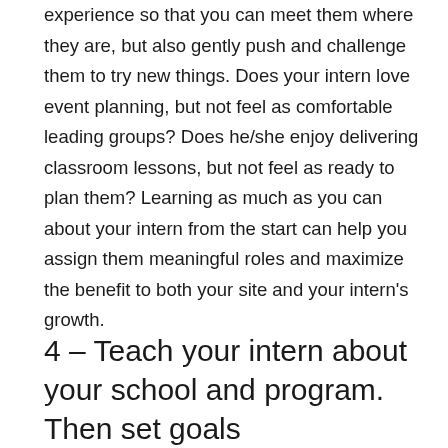experience so that you can meet them where they are, but also gently push and challenge them to try new things. Does your intern love event planning, but not feel as comfortable leading groups? Does he/she enjoy delivering classroom lessons, but not feel as ready to plan them? Learning as much as you can about your intern from the start can help you assign them meaningful roles and maximize the benefit to both your site and your intern's growth.
4 – Teach your intern about your school and program. Then set goals